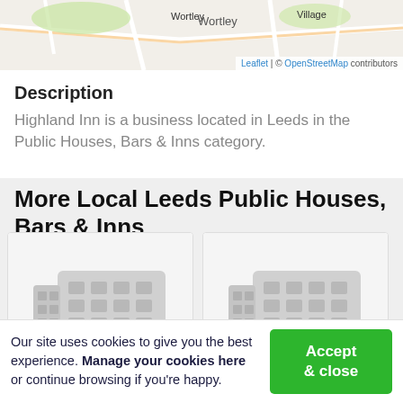[Figure (map): OpenStreetMap showing Wortley and Village area of Leeds with road network. Footer shows 'Leaflet | © OpenStreetMap contributors']
Description
Highland Inn is a business located in Leeds in the Public Houses, Bars & Inns category.
More Local Leeds Public Houses, Bars & Inns
[Figure (illustration): Two business listing cards with placeholder building icons, showing generic grey building silhouettes on white background.]
Our site uses cookies to give you the best experience. Manage your cookies here or continue browsing if you're happy.